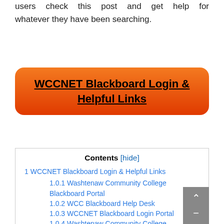users check this post and get help for whatever they have been searching.
WCCNET Blackboard Login & Helpful Links
Contents [hide]
1 WCCNET Blackboard Login & Helpful Links
1.0.1 Washtenaw Community College Blackboard Portal
1.0.2 WCC Blackboard Help Desk
1.0.3 WCCNET Blackboard Login Portal
1.0.4 Washtenaw Community College Blackboard Help
1.0.5 Washtenaw Blackboard Faculty Support